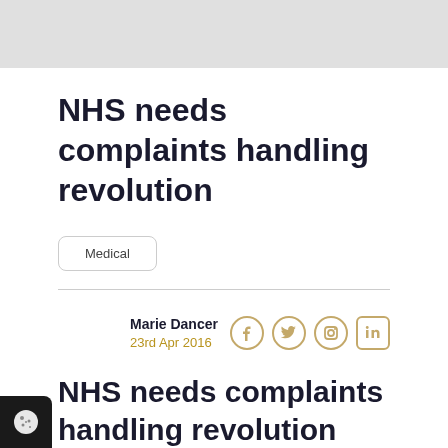[Figure (photo): Gray image banner at top of page]
NHS needs complaints handling revolution
Medical
Marie Dancer
23rd Apr 2016
[Figure (other): Social media icons: Facebook, Twitter, Instagram, LinkedIn]
NHS needs complaints handling revolution